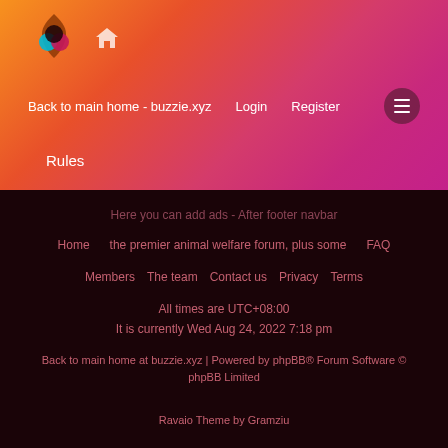[Figure (logo): Buzzie.xyz logo with colorful flower/circles icon and home icon]
Back to main home - buzzie.xyz   Login   Register
Rules
Here you can add ads - After footer navbar
Home   the premier animal welfare forum, plus some   FAQ   Members   The team   Contact us   Privacy   Terms   All times are UTC+08:00   It is currently Wed Aug 24, 2022 7:18 pm   Back to main home at buzzie.xyz | Powered by phpBB® Forum Software © phpBB Limited   Ravaio Theme by Gramziu